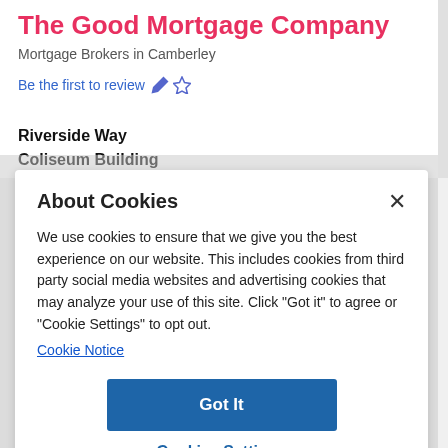The Good Mortgage Company
Mortgage Brokers in Camberley
Be the first to review
Riverside Way
Coliseum Building
About Cookies
We use cookies to ensure that we give you the best experience on our website. This includes cookies from third party social media websites and advertising cookies that may analyze your use of this site. Click "Got it" to agree or "Cookie Settings" to opt out.
Cookie Notice
Got It
Cookies Settings